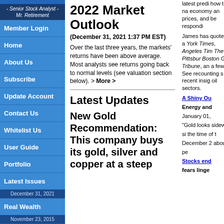[Figure (photo): Photo of Dan Hassey, Senior Stock Analyst at Mr. Retirement]
DAN HASSEY
- Senior Stock Analyst - Mr. Retirement
Member Login
Home
About Us
Subscribe
Update Account
Contact Us
Whitelist Us
User Guide
Portfolio
Latest Issues
December 31, 2021
Real Wealth
November 23, 2015
2022 Market Outlook
(December 31, 2021 1:37 PM EST)
Over the last three years, the markets' returns have been above average. Most analysts see returns going back to normal levels (see valuation section below). > More >
Latest Updates
New Gold Recommendation: This company buys its gold, silver and copper at a steep
latest predi how the na economy an prices, and be respondi James has  quoted as a York Times, Angeles Tim The Pittsbur Boston Glob Tribune, an a few. See  recounting s recent insig oil sectors.
A Shiny Ou Energy and January 01, "Gold looks sideways si the time of t December 2 about 12 pe
Stocks end fears linge